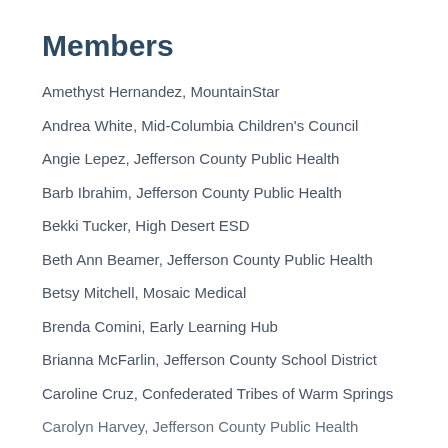Members
Amethyst Hernandez, MountainStar
Andrea White, Mid-Columbia Children's Council
Angie Lepez, Jefferson County Public Health
Barb Ibrahim, Jefferson County Public Health
Bekki Tucker, High Desert ESD
Beth Ann Beamer, Jefferson County Public Health
Betsy Mitchell, Mosaic Medical
Brenda Comini, Early Learning Hub
Brianna McFarlin, Jefferson County School District
Caroline Cruz, Confederated Tribes of Warm Springs
Carolyn Harvey, Jefferson County Public Health